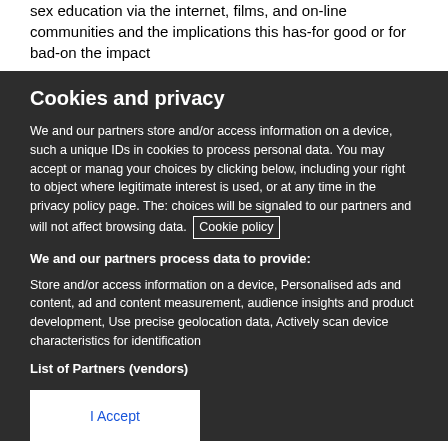sex education via the internet, films, and on-line communities and the implications this has-for good or for bad-on the impact
Cookies and privacy
We and our partners store and/or access information on a device, such as unique IDs in cookies to process personal data. You may accept or manage your choices by clicking below, including your right to object where legitimate interest is used, or at any time in the privacy policy page. These choices will be signaled to our partners and will not affect browsing data. Cookie policy
We and our partners process data to provide:
Store and/or access information on a device, Personalised ads and content, ad and content measurement, audience insights and product development, Use precise geolocation data, Actively scan device characteristics for identification
List of Partners (vendors)
I Accept